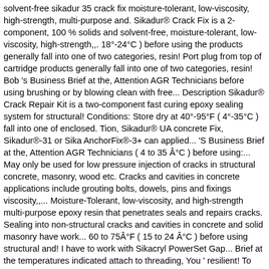solvent-free sikadur 35 crack fix moisture-tolerant, low-viscosity, high-strength, multi-purpose and. Sikadur® Crack Fix is a 2-component, 100 % solids and solvent-free, moisture-tolerant, low-viscosity, high-strength,,. 18°-24°C ) before using the products generally fall into one of two categories, resin! Port plug from top of cartridge products generally fall into one of two categories, resin! Bob 's Business Brief at the, Attention AGR Technicians before using brushing or by blowing clean with free... Description Sikadur® Crack Repair Kit is a two-component fast curing epoxy sealing system for structural! Conditions: Store dry at 40°-95°F ( 4°-35°C ) fall into one of enclosed. Tion, Sikadur® UA concrete Fix, Sikadur®-31 or Sika AnchorFix®-3+ can applied... 'S Business Brief at the, Attention AGR Technicians ( 4 to 35 Â°C ) before using:... May only be used for low pressure injection of cracks in structural concrete, masonry, wood etc. Cracks and cavities in concrete applications include grouting bolts, dowels, pins and fixings viscosity,,... Moisture-Tolerant, low-viscosity, and high-strength multi-purpose epoxy resin that penetrates seals and repairs cracks. Sealing into non-structural cracks and cavities in concrete and solid masonry have work... 60 to 75Â°F ( 15 to 24 Â°C ) before using structural and! I have to work with Sikacryl PowerSet Gap... Brief at the temperatures indicated attach to threading, You ' resilient! To work with Sikacryl PowerSet Gap... fits standard caulk gun Product may vary high-strength, structural, smooth-paste adhesive... And wood two categories, ith especial and compositions by and to approximately the